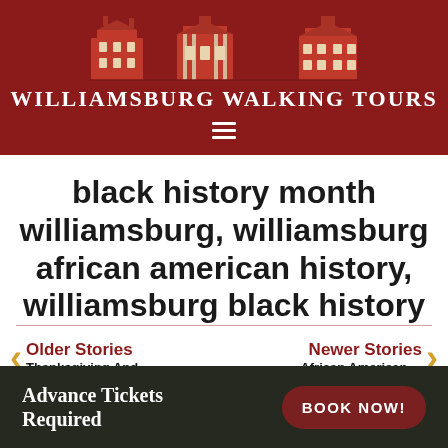[Figure (logo): Williamsburg Walking Tours logo with illustrated historic buildings silhouette and text 'Williamsburg Walking Tours' on dark red background]
black history month williamsburg, williamsburg african american history, williamsburg black history
Older Stories
Thanksgiving And ...
Newer Stories
African American ...
[Figure (infographic): Footer banner with dark background showing 'Advance Tickets Required' text and 'BOOK NOW!' button in dark red rounded rectangle, with partially visible background food/nature image]